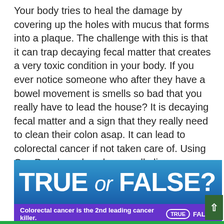Your body tries to heal the damage by covering up the holes with mucus that forms into a plaque. The challenge with this is that it can trap decaying fecal matter that creates a very toxic condition in your body. If you ever notice someone who after they have a bowel movement is smells so bad that you really have to lead the house? It is decaying fecal matter and a sign that they really need to clean their colon asap. It can lead to colorectal cancer if not taken care of. Using Oxy Powder colon cleanse alkalizes your body and stops these more harmful microbes from causing more damage to your intestines and colon.
[Figure (infographic): Blue banner with 'TRUE or FALSE?' text in large white letters on gradient blue background, with a purple strip below stating 'Colorectal cancer is the 2nd leading cancer killer.' with TRUE circled and FALSE shown. A green scroll-up button appears at bottom right.]